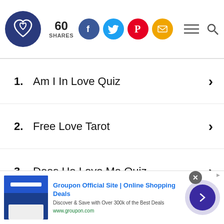[Figure (logo): Heart-knot logo in dark blue circle, share count 60 SHARES, social media icons for Facebook, Twitter, Pinterest, Email, and hamburger menu with search icon]
1. Am I In Love Quiz
2. Free Love Tarot
3. Does He Love Me Quiz
[Figure (infographic): Groupon advertisement banner: Groupon Official Site | Online Shopping Deals. Discover & Save with Over 300k of the Best Deals. www.groupon.com]